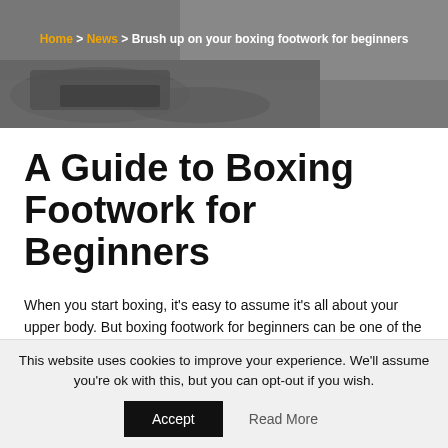[Figure (photo): Grayscale background image showing boxing feet/footwork, used as header image]
Home > News > Brush up on your boxing footwork for beginners
A Guide to Boxing Footwork for Beginners
When you start boxing, it's easy to assume it's all about your upper body. But boxing footwork for beginners can be one of the most important things to master. Therefore, boxing footwork drills are hugely beneficial for improving
This website uses cookies to improve your experience. We'll assume you're ok with this, but you can opt-out if you wish.